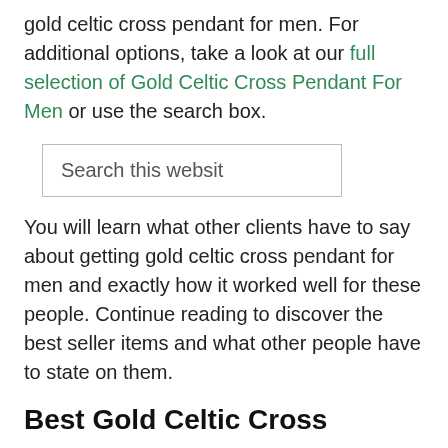gold celtic cross pendant for men. For additional options, take a look at our full selection of Gold Celtic Cross Pendant For Men or use the search box.
[Figure (other): Search box input field with placeholder text 'Search this websit']
You will learn what other clients have to say about getting gold celtic cross pendant for men and exactly how it worked well for these people. Continue reading to discover the best seller items and what other people have to state on them.
Best Gold Celtic Cross